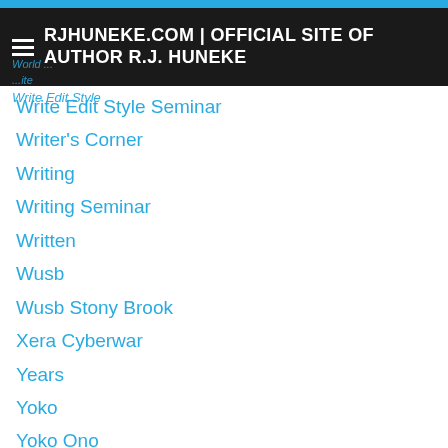RJHUNEKE.COM | OFFICIAL SITE OF AUTHOR R.J. HUNEKE
Write Edit Style Seminar
Writer's Corner
Writing
Writing Seminar
Written
Wusb
Wusb Stony Brook
Xera Cyberwar
Years
Yoko
Yoko Ono
Yoo